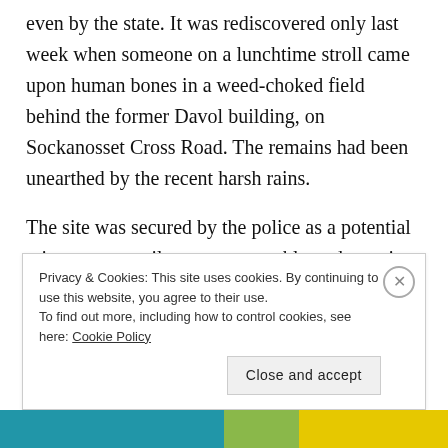even by the state. It was rediscovered only last week when someone on a lunchtime stroll came upon human bones in a weed-choked field behind the former Davol building, on Sockanosset Cross Road. The remains had been unearthed by the recent harsh rains.
The site was secured by the police as a potential crime scene until experts were able to determine that the bones dated back to the early 1900s.
Now, leading Rhode Island archaeologists say the bones
Privacy & Cookies: This site uses cookies. By continuing to use this website, you agree to their use.
To find out more, including how to control cookies, see here: Cookie Policy
Close and accept